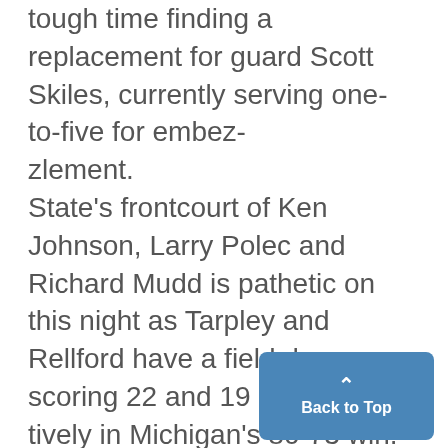tough time finding a replacement for guard Scott Skiles, currently serving one-to-five for embez-zlement. State's frontcourt of Ken Johnson, Larry Polec and Richard Mudd is pathetic on this night as Tarpley and Rellford have a field day, scoring 22 and 19 respec-tively in Michigan's 80-73 win. Garde Thompson comes off the bench to contrib